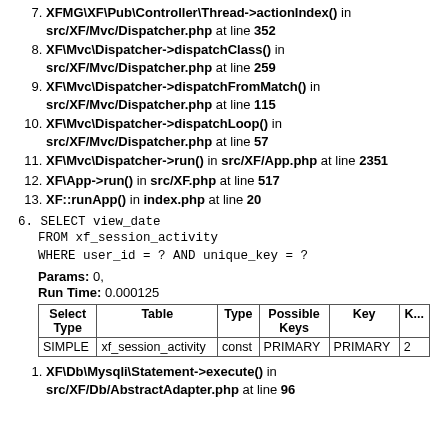7. XFMG\XF\Pub\Controller\Thread->actionIndex() in src/XF/Mvc/Dispatcher.php at line 352
8. XF\Mvc\Dispatcher->dispatchClass() in src/XF/Mvc/Dispatcher.php at line 259
9. XF\Mvc\Dispatcher->dispatchFromMatch() in src/XF/Mvc/Dispatcher.php at line 115
10. XF\Mvc\Dispatcher->dispatchLoop() in src/XF/Mvc/Dispatcher.php at line 57
11. XF\Mvc\Dispatcher->run() in src/XF/App.php at line 2351
12. XF\App->run() in src/XF.php at line 517
13. XF::runApp() in index.php at line 20
6. SELECT view_date
   FROM xf_session_activity
   WHERE user_id = ? AND unique_key = ?
Params: 0,
Run Time: 0.000125
| Select Type | Table | Type | Possible Keys | Key | K... |
| --- | --- | --- | --- | --- | --- |
| SIMPLE | xf_session_activity | const | PRIMARY | PRIMARY | 2... |
1. XF\Db\Mysqli\Statement->execute() in src/XF/Db/AbstractAdapter.php at line 96